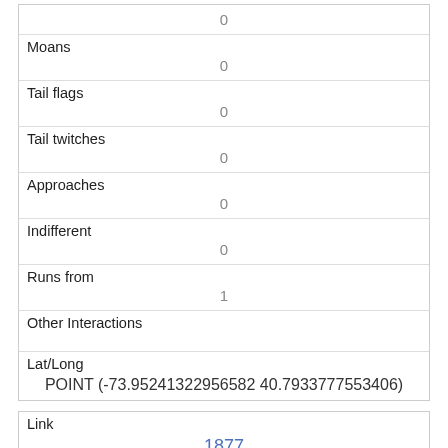| 0 |
| Moans | 0 |
| Tail flags | 0 |
| Tail twitches | 0 |
| Approaches | 0 |
| Indifferent | 0 |
| Runs from | 1 |
| Other Interactions |  |
| Lat/Long | POINT (-73.95241322956582 40.7933777553406) |
| Link | 1877 |
| rowid |  |